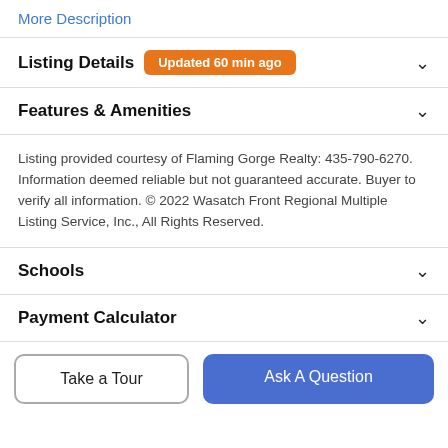More Description
Listing Details  Updated 60 min ago
Features & Amenities
Listing provided courtesy of Flaming Gorge Realty: 435-790-6270. Information deemed reliable but not guaranteed accurate. Buyer to verify all information. © 2022 Wasatch Front Regional Multiple Listing Service, Inc., All Rights Reserved.
Schools
Payment Calculator
Take a Tour
Ask A Question